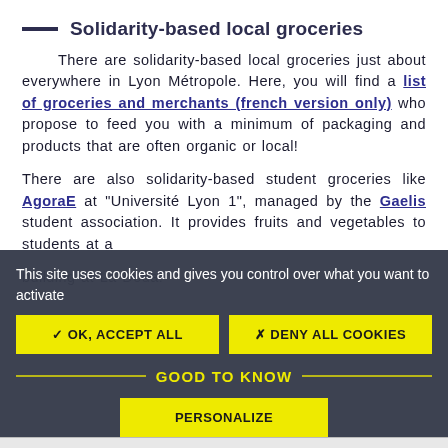— Solidarity-based local groceries
There are solidarity-based local groceries just about everywhere in Lyon Métropole. Here, you will find a list of groceries and merchants (french version only) who propose to feed you with a minimum of packaging and products that are often organic or local!
There are also solidarity-based student groceries like AgoraE at "Université Lyon 1", managed by the Gaelis student association. It provides fruits and vegetables to students at a [partially obscured]
This site uses cookies and gives you control over what you want to activate
✓ OK, ACCEPT ALL
✗ DENY ALL COOKIES
GOOD TO KNOW
PERSONALIZE